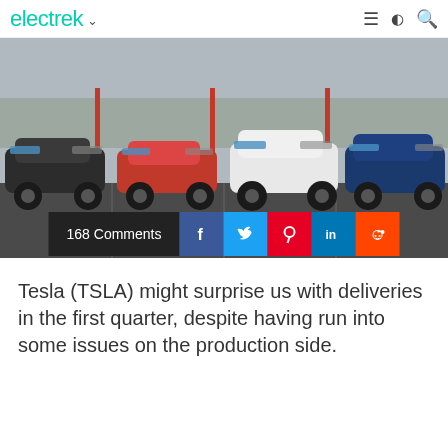electrek
[Figure (photo): Four Tesla electric vehicles (black Model S, red Model 3, white Model X, blue Model Y) parked at a Supercharger station]
168 Comments
Tesla (TSLA) might surprise us with deliveries in the first quarter, despite having run into some issues on the production side.